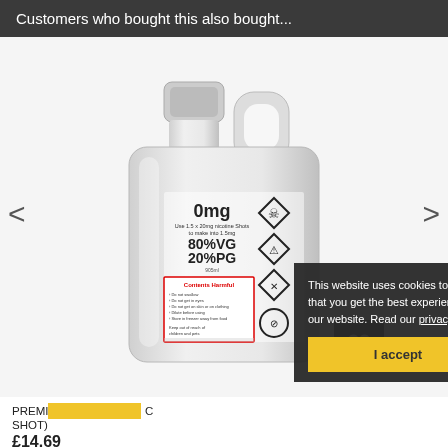Customers who bought this also bought...
[Figure (photo): A large plastic bottle/jug with label reading: 0mg, Use 1.5 x 20mg nicotine Shots to make into 1.5mg, 80%VG 20%PG, 905ml. Label includes hazard symbols and a red 'Contents Harmful' warning box with safety instructions. Carousel navigation arrows on left and right.]
This website uses cookies to ensure that you get the best experience on our website. Read our privacy policy.
I accept
PREMIX ... (SHORTFILL WITH NICOTINE SHOT)
£14.69